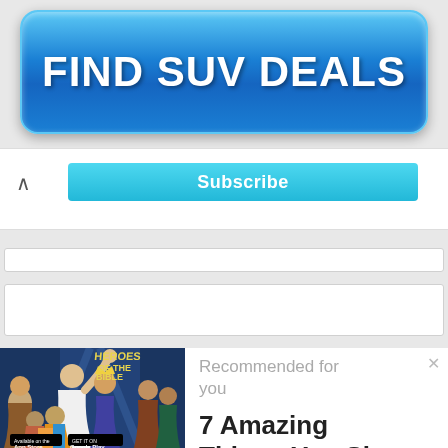[Figure (infographic): Blue gradient button with white bold text reading FIND SUV DEALS]
[Figure (screenshot): Subscribe button in cyan/teal color with upward caret arrow on left side]
[Figure (screenshot): Empty white input bar 1]
[Figure (screenshot): Empty white input bar 2]
[Figure (illustration): Comic book style illustration of biblical figures with Heroes of the Bible branding, App Store and Google Play badges at bottom]
Recommended for you
7 Amazing Things You Sh...
www.jmlalonde.com
AddThis